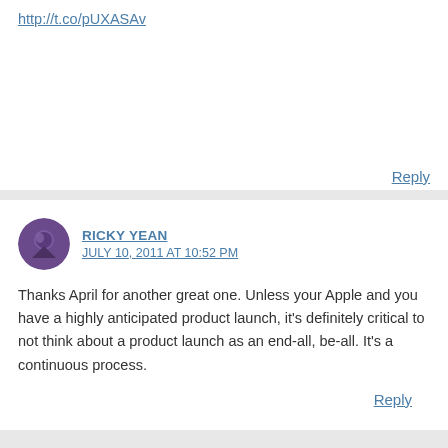http://t.co/pUXASAv
Reply
RICKY YEAN
JULY 10, 2011 AT 10:52 PM
Thanks April for another great one. Unless your Apple and you have a highly anticipated product launch, it's definitely critical to not think about a product launch as an end-all, be-all. It's a continuous process.
Reply